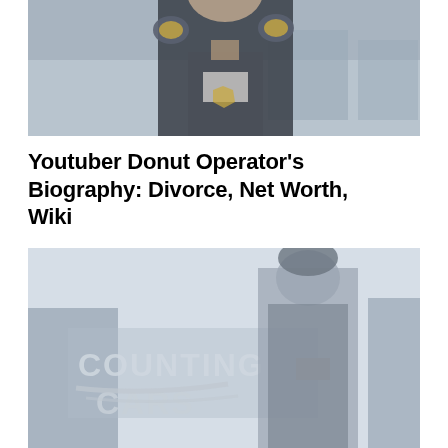[Figure (photo): A person wearing a dark police/security uniform with shoulder patches, photographed from the chest up against a blurred background.]
Youtuber Donut Operator's Biography: Divorce, Net Worth, Wiki
[Figure (photo): A person wearing a beanie hat standing in front of a vehicle or sign displaying the text 'COUNTING CARS'. The image is washed out/faded.]